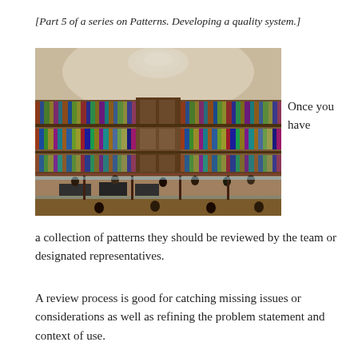[Part 5 of a series on Patterns. Developing a quality system.]
[Figure (photo): Interior of a large circular library reading room with multiple floors of bookshelves lining the walls and people seated at desks in the lower level.]
Once you have
a collection of patterns they should be reviewed by the team or designated representatives.
A review process is good for catching missing issues or considerations as well as refining the problem statement and context of use.